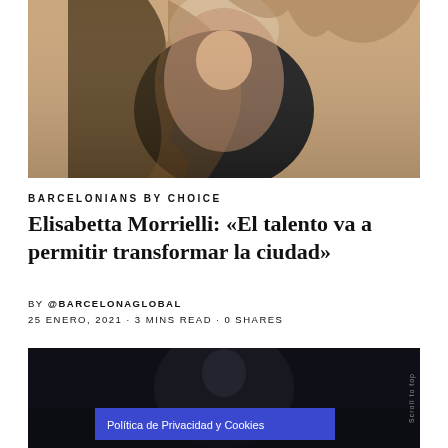[Figure (photo): Top portion of a woman with long brown hair wearing a black top, photographed against a light background]
BARCELONIANS BY CHOICE
Elisabetta Morrielli: «El talento va a permitir transformar la ciudad»
BY @BARCELONAGLOBAL
25 ENERO, 2021 · 3 MINS READ · 0 SHARES
[Figure (photo): Dark video thumbnail showing a blurred person, with a blue 'Política de Privacidad y Cookies' banner overlay and a 'Scroll to top' vertical text on the right edge]